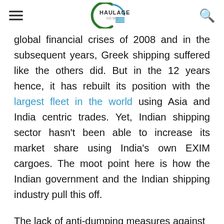Haulage News
global financial crises of 2008 and in the subsequent years, Greek shipping suffered like the others did. But in the 12 years hence, it has rebuilt its position with the largest fleet in the world using Asia and India centric trades. Yet, Indian shipping sector hasn't been able to increase its market share using India's own EXIM cargoes. The moot point here is how the Indian government and the Indian shipping industry pull this off.
The lack of anti-dumping measures against